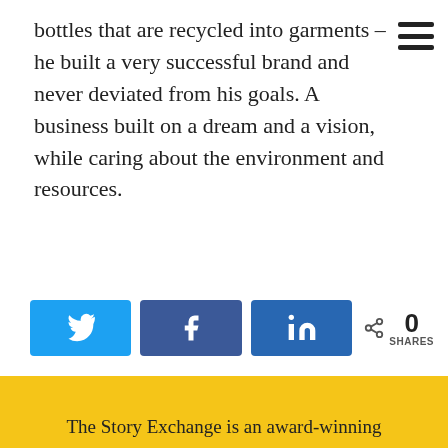bottles that are recycled into garments – he built a very successful brand and never deviated from his goals. A business built on a dream and a vision, while caring about the environment and resources.
[Figure (infographic): Social sharing buttons: Twitter (blue), Facebook (dark blue), LinkedIn (dark blue), and a share count showing 0 SHARES]
The Story Exchange is an award-winning nonprofit media organization that provides inspiration and information to entrepreneurial women.

Sign up for our biweekly newsletter!